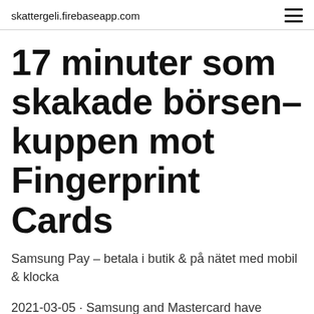skattergeli.firebaseapp.com
17 minuter som skakade börsen–kuppen mot Fingerprint Cards
Samsung Pay – betala i butik & på nätet med mobil & klocka
2021-03-05 · Samsung and Mastercard have agreed to collaborate on making card payments